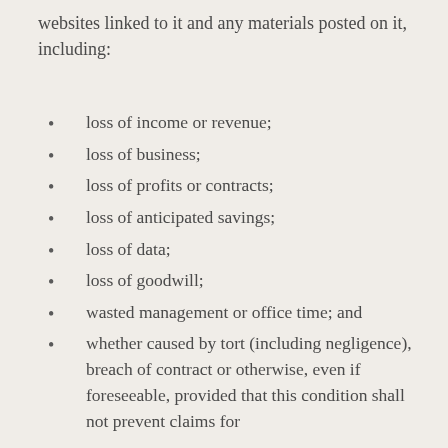websites linked to it and any materials posted on it, including:
loss of income or revenue;
loss of business;
loss of profits or contracts;
loss of anticipated savings;
loss of data;
loss of goodwill;
wasted management or office time; and
whether caused by tort (including negligence), breach of contract or otherwise, even if foreseeable, provided that this condition shall not prevent claims for